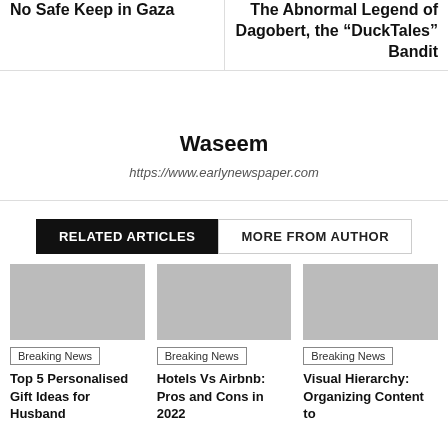No Safe Keep in Gaza
The Abnormal Legend of Dagobert, the “DuckTales” Bandit
Waseem
https://www.earlynewspaper.com
RELATED ARTICLES
MORE FROM AUTHOR
Breaking News
Top 5 Personalised Gift Ideas for Husband
Breaking News
Hotels Vs Airbnb: Pros and Cons in 2022
Breaking News
Visual Hierarchy: Organizing Content to